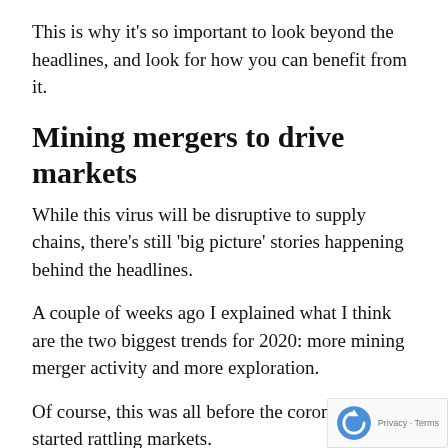This is why it’s so important to look beyond the headlines, and look for how you can benefit from it.
Mining mergers to drive markets
While this virus will be disruptive to supply chains, there’s still ‘big picture’ stories happening behind the headlines.
A couple of weeks ago I explained what I think are the two biggest trends for 2020: more mining merger activity and more exploration.
Of course, this was all before the coronavirus started rattling markets.
And I have no doubt that mining stocks — and